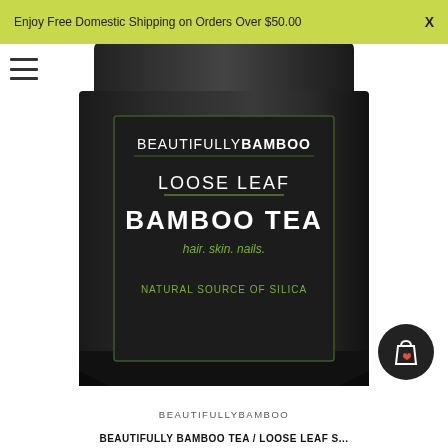Enjoy Free Domestic Shipping on Orders Over $50.00   X
[Figure (photo): Black resealable pouch of Beautifully Bamboo Loose Leaf Bamboo Tea with text on label: BEAUTIFULLYBAMBOO, LOOSE LEAF, BAMBOO TEA, hair. skin. nails., NATURAL SOURCE OF SILICA]
BEAUTIFULLYBAMBOO
BEAUTIFULLY BAMBOO TEA / LOOSE LEAF S...